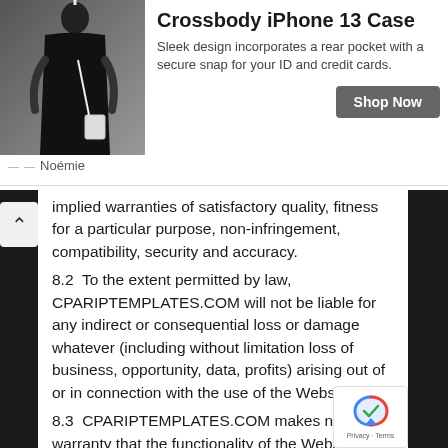[Figure (screenshot): Advertisement banner for Noémie Crossbody iPhone 13 Case showing product image with a person wearing the case, product title, description text, and Shop Now button]
implied warranties of satisfactory quality, fitness for a particular purpose, non-infringement, compatibility, security and accuracy.
8.2  To the extent permitted by law, CPARIPTEMPLATES.COM will not be liable for any indirect or consequential loss or damage whatever (including without limitation loss of business, opportunity, data, profits) arising out of or in connection with the use of the Website.
8.3  CPARIPTEMPLATES.COM makes no warranty that the functionality of the Website will be uninterrupted or error free, that defects will be corrected or that the Website or the server that makes it available are free